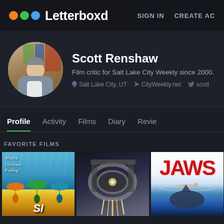Letterboxd   SIGN IN   CREATE AC
Scott Renshaw
Film critic for Salt Lake City Weekly since 2000.
Salt Lake City, UT   CityWeekly.net   scott
Profile   Activity   Films   Diary   Revie
FAVORITE FILMS
[Figure (photo): Three movie poster thumbnails: Singin' in the Rain (What a Glorious Feeling text, colorful umbrella figures), a dark mechanical film poster, and JAWS poster with red title text]